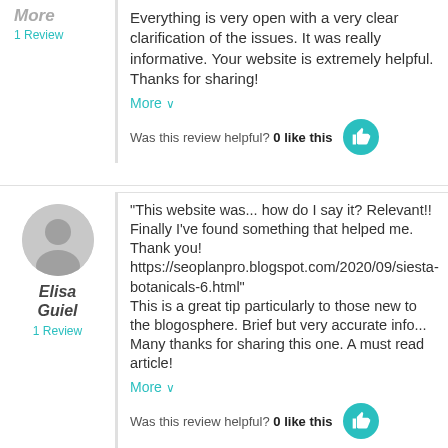More
1 Review
Everything is very open with a very clear clarification of the issues. It was really informative. Your website is extremely helpful. Thanks for sharing!
More ∨
Was this review helpful? 0 like this
[Figure (illustration): Grey avatar/profile icon circle]
Elisa Guiel
1 Review
"This website was... how do I say it? Relevant!! Finally I've found something that helped me. Thank you! https://seoplanpro.blogspot.com/2020/09/siesta-botanicals-6.html" This is a great tip particularly to those new to the blogosphere. Brief but very accurate info... Many thanks for sharing this one. A must read article!
More ∨
Was this review helpful? 0 like this